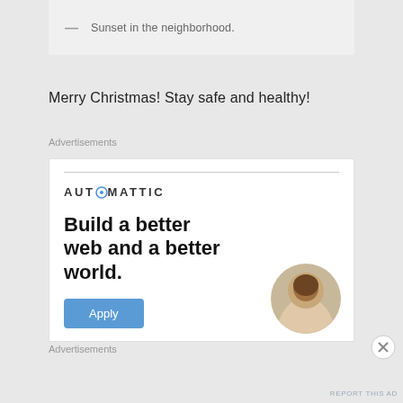— Sunset in the neighborhood.
Merry Christmas! Stay safe and healthy!
Advertisements
[Figure (infographic): Automattic advertisement banner with logo, headline 'Build a better web and a better world.', an Apply button, and a circular photo of a person.]
Advertisements